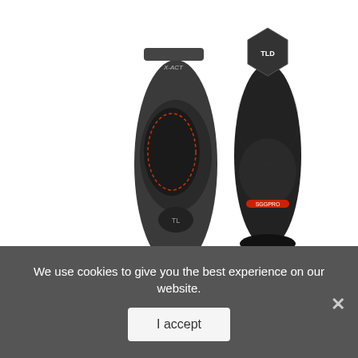[Figure (photo): Product photo of Troy Lee Designs EG 5550 elbow/forearm guards, two black protective pads shown from above on white background]
Troy Lee Designs EG 5550 Adult Elbow/Forearm Guard MX/Off-Road/Dirt Bike Motorcycle Body Armor &#...
[Figure (other): Blue semicircle/circle element partially visible at bottom of content area]
We use cookies to give you the best experience on our website.
I accept